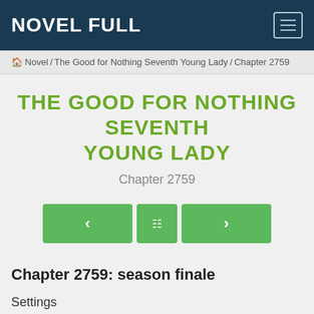NOVEL FULL
Novel / The Good for Nothing Seventh Young Lady / Chapter 2759
THE GOOD FOR NOTHING SEVENTH YOUNG LADY
Chapter 2759
Chapter 2759: season finale
Settings
When Shen Yanxiao was the lord, he was busy, and